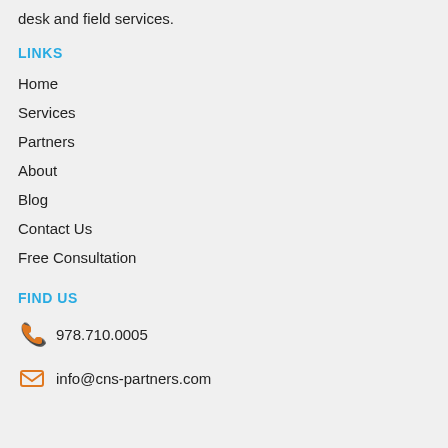desk and field services.
LINKS
Home
Services
Partners
About
Blog
Contact Us
Free Consultation
FIND US
978.710.0005
info@cns-partners.com